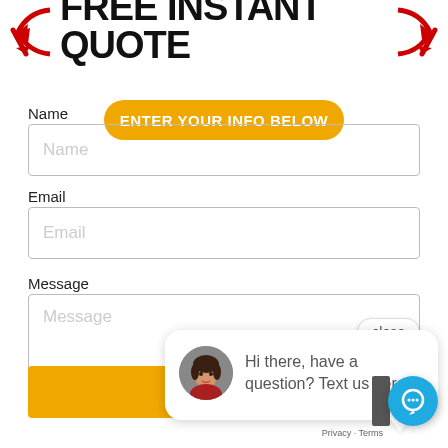FREE INSTANT QUOTE
ENTER YOUR INFO BELOW
Name
Name
Email
Email
Message
Message
close
Hi there, have a question? Text us here.
SUBMIT
Privacy · Terms